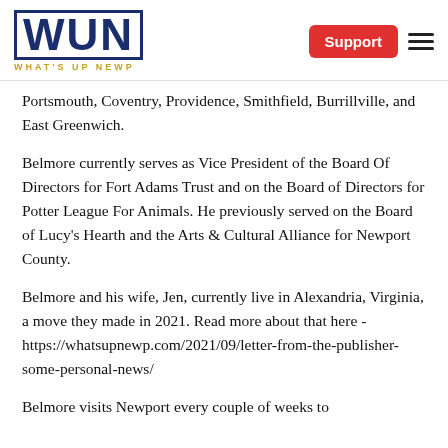WUN WHAT'S UP NEWP | Support
Portsmouth, Coventry, Providence, Smithfield, Burrillville, and East Greenwich.
Belmore currently serves as Vice President of the Board Of Directors for Fort Adams Trust and on the Board of Directors for Potter League For Animals. He previously served on the Board of Lucy's Hearth and the Arts & Cultural Alliance for Newport County.
Belmore and his wife, Jen, currently live in Alexandria, Virginia, a move they made in 2021. Read more about that here - https://whatsupnewp.com/2021/09/letter-from-the-publisher-some-personal-news/
Belmore visits Newport every couple of weeks to